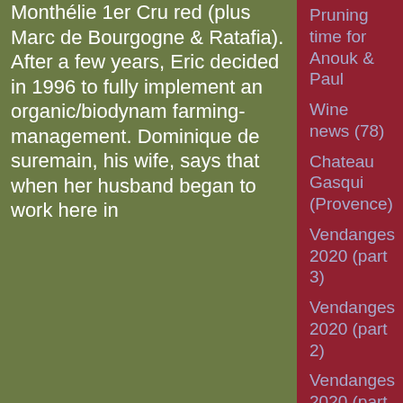Monthélie 1er Cru red (plus Marc de Bourgogne & Ratafia). After a few years, Eric decided in 1996 to fully implement an organic/biodynamic farming-management. Dominique de suremain, his wife, says that when her husband began to work here in
Pruning time for Anouk & Paul
Wine news (78)
Chateau Gasqui (Provence)
Vendanges 2020 (part 3)
Vendanges 2020 (part 2)
Vendanges 2020 (part 1)
Le Champ du Possible (French Alps)
Romain des Grottes (Beaujolais)
Le Nez dans le Vert 2020
Domaine Bruyère-Houillon (Jura)
Thomas Popy (Jura)
Bistrot des Claquets (Jura)
Domaine de L'Octavin (Jura)